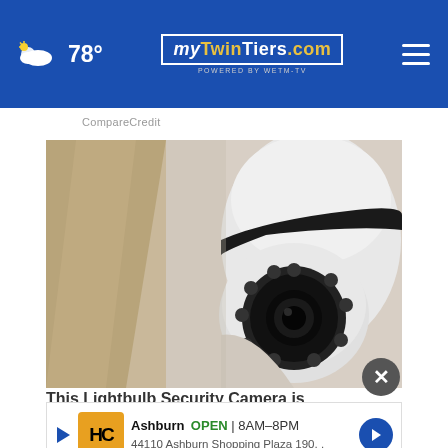78° myTwinTiers.com
CompareCredit
[Figure (photo): Close-up photo of a white lightbulb security camera mounted on a wall, showing the camera lens with surrounding IR LEDs and a rotating dome body.]
This Lightbulb Security Camera is Sweeping Ash...
Ashburn OPEN 8AM-8PM 44110 Ashburn Shopping Plaza 190,.
Keili...